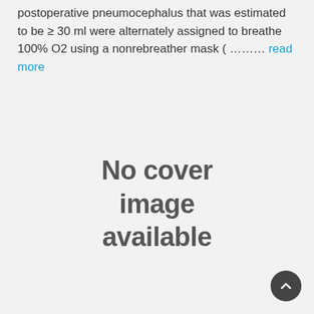postoperative pneumocephalus that was estimated to be ≥ 30 ml were alternately assigned to breathe 100% O2 using a nonrebreather mask ( ……… read more
[Figure (other): No cover image available placeholder graphic]